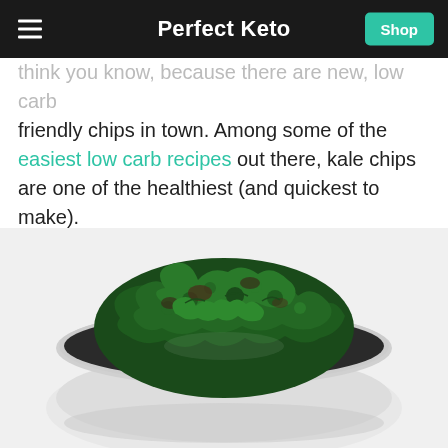Perfect Keto
think you know, because there are new, low carb friendly chips in town. Among some of the easiest low carb recipes out there, kale chips are one of the healthiest (and quickest to make).
[Figure (photo): A bowl of dark green kale chips photographed from above on a white background]